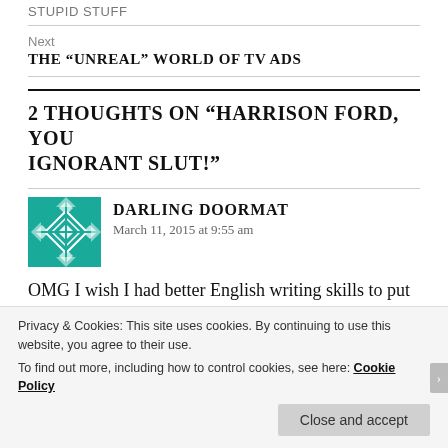Stupid Stuff
Next
THE “UNREAL” WORLD OF TV ADS
2 THOUGHTS ON “HARRISON FORD, YOU IGNORANT SLUT!”
DARLING DOORMAT
March 11, 2015 at 9:55 am
OMG I wish I had better English writing skills to put some decent comments here. Long story short,
Privacy & Cookies: This site uses cookies. By continuing to use this website, you agree to their use.
To find out more, including how to control cookies, see here: Cookie Policy
Close and accept